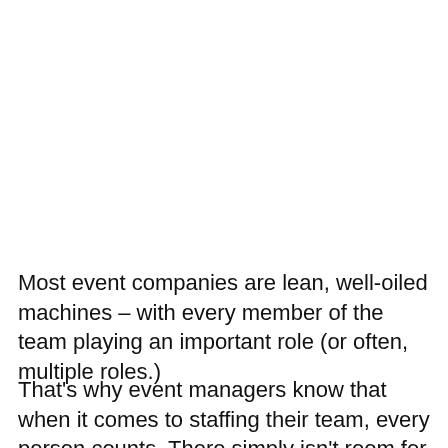Most event companies are lean, well-oiled machines – with every member of the team playing an important role (or often, multiple roles.)
That's why event managers know that when it comes to staffing their team, every person counts. There simply isn't room for someone